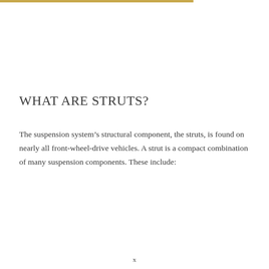WHAT ARE STRUTS?
The suspension system’s structural component, the struts, is found on nearly all front-wheel-drive vehicles. A strut is a compact combination of many suspension components. These include:
x